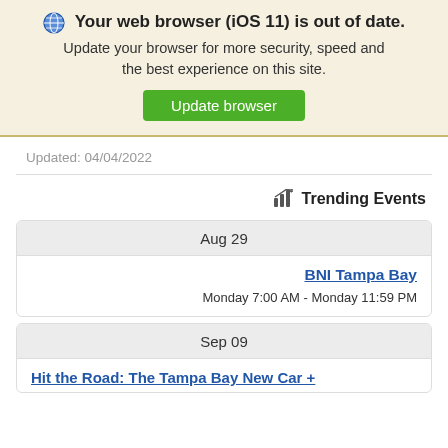🌐 Your web browser (iOS 11) is out of date. Update your browser for more security, speed and the best experience on this site. Update browser
Updated: 04/04/2022
📊 Trending Events
Aug 29
BNI Tampa Bay
Monday 7:00 AM - Monday 11:59 PM
Sep 09
Hit the Road: The Tampa Bay New Car +